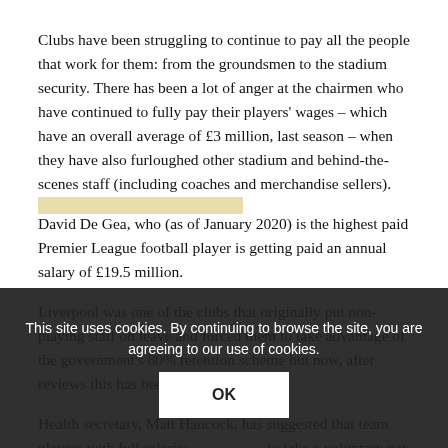Clubs have been struggling to continue to pay all the people that work for them: from the groundsmen to the stadium security. There has been a lot of anger at the chairmen who have continued to fully pay their players' wages – which have an overall average of £3 million, last season – when they have also furloughed other stadium and behind-the-scenes staff (including coaches and merchandise sellers).
David De Gea, who (as of January 2020) is the highest paid Premier League football player is getting paid an annual salary of £19.5 million.
Liverpool was one of the clubs that originally put non-playing staff on leave and forced them to take advantage of the government's 80% retention scheme but now, after reviews this has been done. Still...
Health secretary, Matt Hancock, has suggested that team players with full salaries to take a voluntary pay cut so that their club can afford to continue supporting their
This site uses cookies. By continuing to browse the site, you are agreeing to our use of cookies.